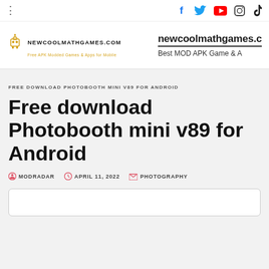newcoolmathgames.com — Best MOD APK Game & A — Social icons: Facebook, Twitter, YouTube, Instagram, TikTok
[Figure (logo): NEWCOOLMATHGAMES.COM logo with robot icon and tagline]
newcoolmathgames.c — Best MOD APK Game & A
FREE DOWNLOAD PHOTOBOOTH MINI V89 FOR ANDROID
Free download Photobooth mini v89 for Android
MODRADAR   APRIL 11, 2022   PHOTOGRAPHY